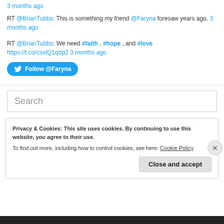3 months ago
RT @BrianTubbs: This is something my friend @Faryna foresaw years ago. 3 months ago
RT @BrianTubbs: We need #faith , #hope , and #love https://t.co/csxIQ1qdp2 3 months ago
Follow @Faryna
Search
Privacy & Cookies: This site uses cookies. By continuing to use this website, you agree to their use. To find out more, including how to control cookies, see here: Cookie Policy
Close and accept